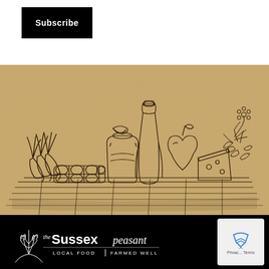[Figure (illustration): Subscribe button - black rectangle with white text 'Subscribe']
[Figure (illustration): Line drawing illustration on kraft paper background showing farm produce: carrots, eggs in carton, jar of jam/honey, milk bottle, apple, wedge of cheese, and herbs/flowers on a wooden table surface]
[Figure (logo): The Sussex Peasant logo - white text and wheat illustration on black background. Text reads 'the Sussex peasant LOCAL FOOD | FARMED WELL']
[Figure (other): Google Maps privacy/terms icon - small box with map pin icon and text 'Privac... Terms']